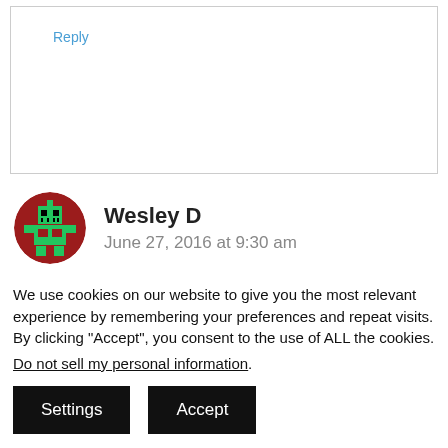Reply
Wesley D
June 27, 2016 at 9:30 am
We use cookies on our website to give you the most relevant experience by remembering your preferences and repeat visits. By clicking “Accept”, you consent to the use of ALL the cookies.
Do not sell my personal information.
Settings
Accept